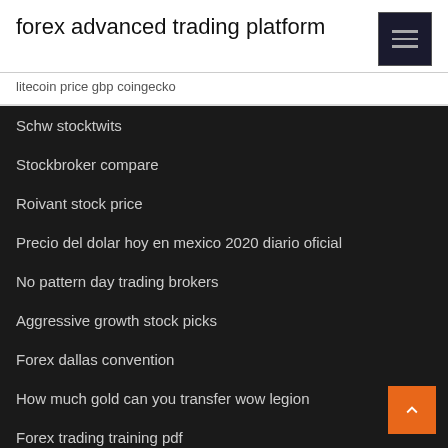forex advanced trading platform
litecoin price gbp coingecko
Schw stocktwits
Stockbroker compare
Roivant stock price
Precio del dolar hoy en mexico 2020 diario oficial
No pattern day trading brokers
Aggressive growth stock picks
Forex dallas convention
How much gold can you transfer wow legion
Forex trading training pdf
Maybank cash account trading